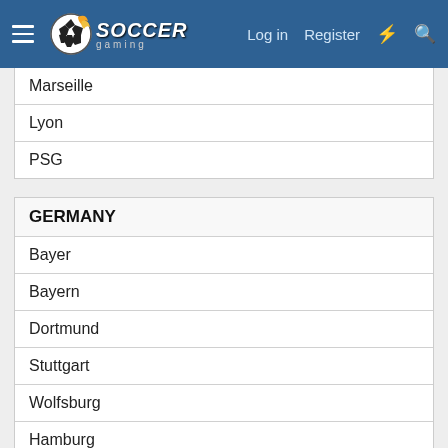Soccer Gaming — Log in | Register
Marseille
Lyon
PSG
GERMANY
Bayer
Bayern
Dortmund
Stuttgart
Wolfsburg
Hamburg
Schalke
Werder
ITALY